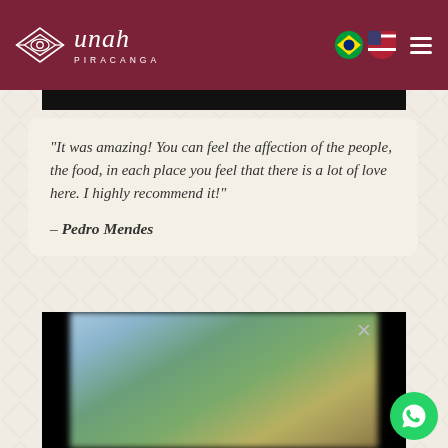Unah Piracanga
“It was amazing! You can feel the affection of the people, the food, in each place you feel that there is a lot of love here. I highly recommend it!” – Pedro Mendes
[Figure (photo): Blurred outdoor photo showing trees and sky, displayed in a black-bordered video player with a close button]